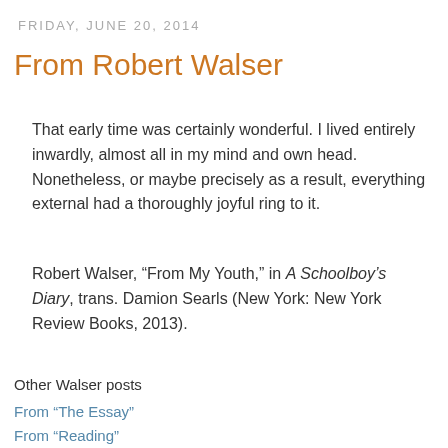FRIDAY, JUNE 20, 2014
From Robert Walser
That early time was certainly wonderful. I lived entirely inwardly, almost all in my mind and own head. Nonetheless, or maybe precisely as a result, everything external had a thoroughly joyful ring to it.
Robert Walser, “From My Youth,” in A Schoolboy’s Diary, trans. Damion Searls (New York: New York Review Books, 2013).
Other Walser posts
From “The Essay”
From “Reading”
From “Spring”
Robert Walser, Microscripts